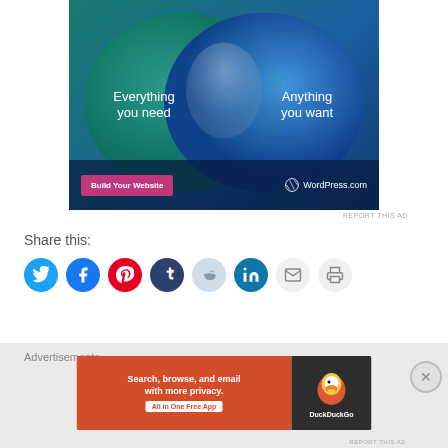[Figure (illustration): WordPress.com advertisement banner showing a Venn diagram with two overlapping circles. Left circle on teal/green background says 'Everything you need', right circle on blue background says 'Anything you want'. Bottom bar has a pink 'Build Your Website' button and WordPress.com logo.]
REPORT THIS AD
Share this:
[Figure (illustration): Row of social sharing icon buttons: Twitter (blue bird), Facebook (blue f), Pinterest (red P), Tumblr (dark blue t), Reddit (light blue alien), LinkedIn (blue in), Email (gray envelope), Print (gray printer)]
Advertisements
[Figure (illustration): DuckDuckGo advertisement banner. Orange left panel with text 'Search, browse, and email with more privacy. All in One Free App'. Dark right panel with DuckDuckGo duck logo and name.]
REPORT THIS AD